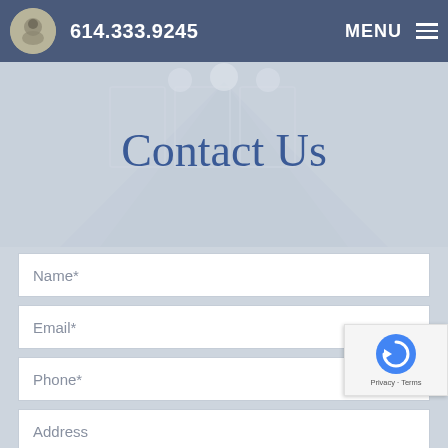614.333.9245  MENU
Contact Us
Name*
Email*
Phone*
Address
City
Select State
Zip